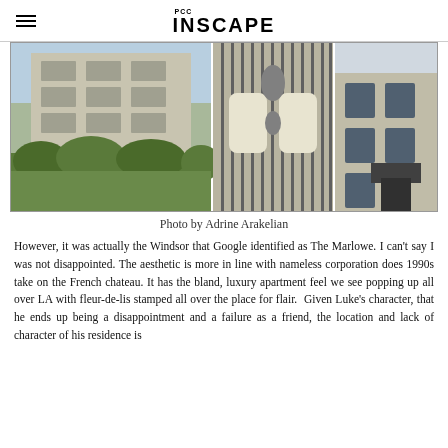PCC INSCAPE
[Figure (photo): Three photos of apartment buildings: a multi-story residential building with balconies and hedges, an ornate iron gate with fleur-de-lis design, and a close-up of a building corner with windows.]
Photo by Adrine Arakelian
However, it was actually the Windsor that Google identified as The Marlowe. I can't say I was not disappointed. The aesthetic is more in line with nameless corporation does 1990s take on the French chateau. It has the bland, luxury apartment feel we see popping up all over LA with fleur-de-lis stamped all over the place for flair. Given Luke's character, that he ends up being a disappointment and a failure as a friend, the location and lack of character of his residence is